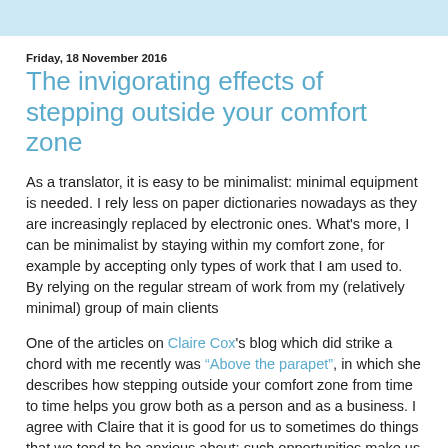Friday, 18 November 2016
The invigorating effects of stepping outside your comfort zone
As a translator, it is easy to be minimalist: minimal equipment is needed. I rely less on paper dictionaries nowadays as they are increasingly replaced by electronic ones. What's more, I can be minimalist by staying within my comfort zone, for example by accepting only types of work that I am used to. By relying on the regular stream of work from my (relatively minimal) group of main clients
One of the articles on Claire Cox's blog which did strike a chord with me recently was “Above the parapet”, in which she describes how stepping outside your comfort zone from time to time helps you grow both as a person and as a business. I agree with Claire that it is good for us to sometimes do things that we tend to be anxious about: such opportunities make us reassess our abilities and prove that